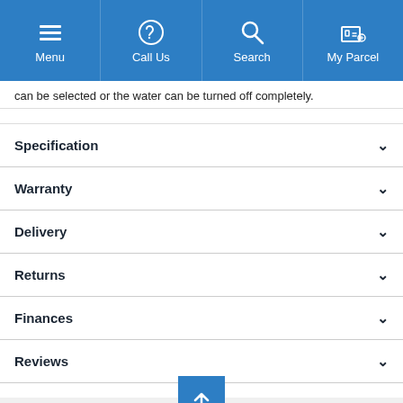Menu | Call Us | Search | My Parcel
can be selected or the water can be turned off completely.
Specification
Warranty
Delivery
Returns
Finances
Reviews